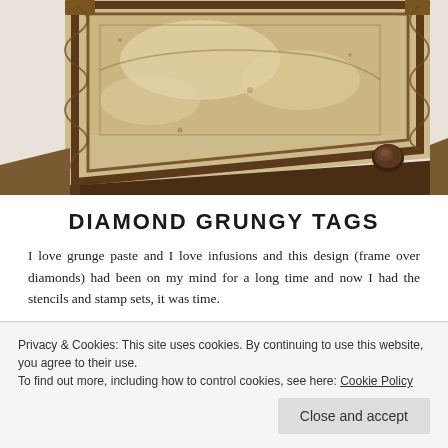[Figure (photo): Close-up photo of decorative craft tags with grunge paste texture, vintage ornate frame design in brown and cream tones, with a dark brown brad/button embellishment at the corner. Multiple layered tags visible.]
DIAMOND GRUNGY TAGS
I love grunge paste and I love infusions and this design (frame over diamonds) had been on my mind for a long time and now I had the stencils and stamp sets, it was time.
Privacy & Cookies: This site uses cookies. By continuing to use this website, you agree to their use.
To find out more, including how to control cookies, see here: Cookie Policy
Close and accept